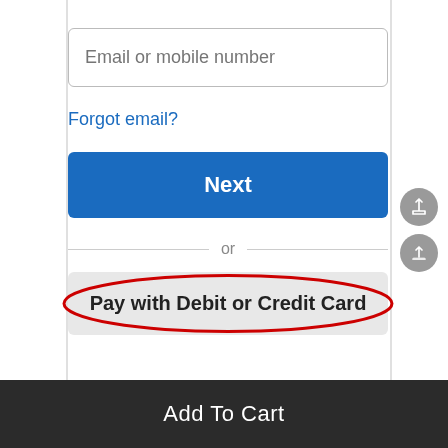[Figure (screenshot): Email or mobile number input field with placeholder text]
Forgot email?
[Figure (screenshot): Blue 'Next' button]
or
[Figure (screenshot): Gray 'Pay with Debit or Credit Card' button with red ellipse annotation highlighting it]
Add To Cart